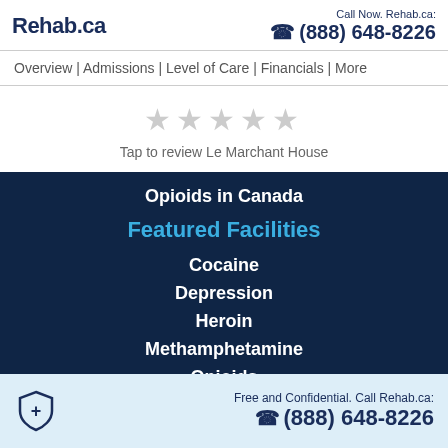Rehab.ca | Call Now. Rehab.ca: (888) 648-8226
Overview | Admissions | Level of Care | Financials | More
[Figure (other): Five empty star rating icons]
Tap to review Le Marchant House
Opioids in Canada
Featured Facilities
Cocaine
Depression
Heroin
Methamphetamine
Opioids
Low Cost Options
Free and Confidential. Call Rehab.ca: (888) 648-8226